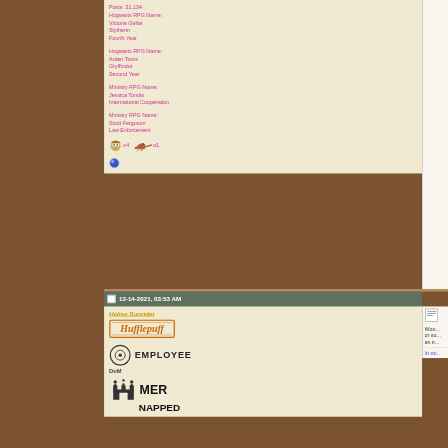Posts: 21,134
Hogwarts RPG Name:
Victoria Gellar
Slytherin
Fourth Year
Hogwarts RPG Name:
Arden Toros
Gryffindor
Second Year
Ministry RPG Name:
Jessica Tomás
International Cooperation
Ministry RPG Name:
Scott Ferguson
Law Enforcement
[Figure (illustration): Owl icon x4 and lizard icon x1]
[Figure (illustration): Blue orb/dot icon]
12-14-2021, 03:53 AM
Helios Sunrider
[Figure (logo): Hufflepuff badge logo]
[Figure (logo): Circle employee badge with text EMPLOYEE, DoM]
[Figure (logo): MERNAPPED badge with castle icon]
Wou... or so... an ir...
In ov...